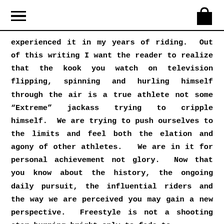[hamburger menu] [shopping bag icon]
experienced it in my years of riding.  Out of this writing I want the reader to realize that the kook you watch on television flipping, spinning and hurling himself through the air is a true athlete not some “Extreme” jackass trying to cripple himself.  We are trying to push ourselves to the limits and feel both the elation and agony of other athletes.   We are in it for personal achievement not glory.  Now that you know about the history, the ongoing daily pursuit, the influential riders and the way we are perceived you may gain a new perspective.  Freestyle is not a shooting star burning bright only to fade to